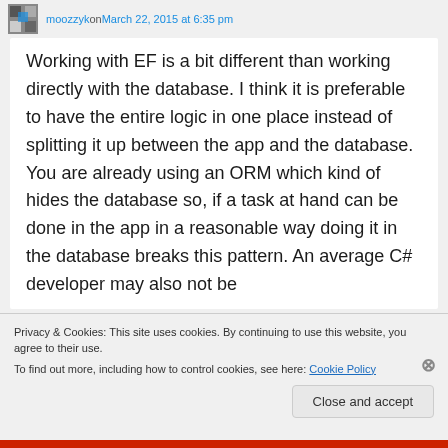moozzyk on March 22, 2015 at 6:35 pm
Working with EF is a bit different than working directly with the database. I think it is preferable to have the entire logic in one place instead of splitting it up between the app and the database. You are already using an ORM which kind of hides the database so, if a task at hand can be done in the app in a reasonable way doing it in the database breaks this pattern. An average C# developer may also not be
Privacy & Cookies: This site uses cookies. By continuing to use this website, you agree to their use.
To find out more, including how to control cookies, see here: Cookie Policy